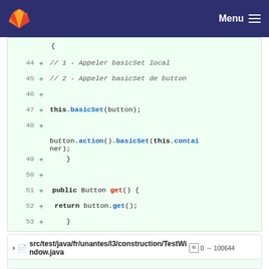GitLab — Menu
[Figure (screenshot): Code diff view showing Java source lines 44-54 with added lines (green +) on a light green background. Lines include comments and method calls: this.basicSet(button), button.action().basicSet(this.container), public Button get(), return button.get().]
src/test/java/fr/unantes/l3/construction/TestWindow.java  0 → 100644